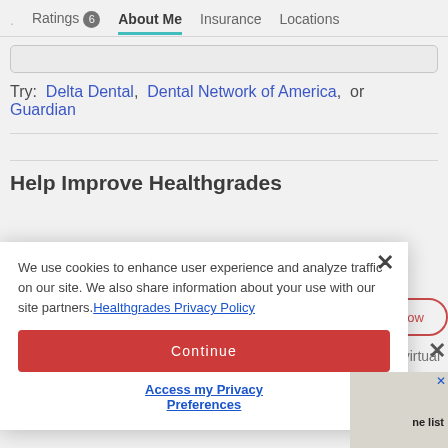Ratings 6  About Me  Insurance  Locations
Try:  Delta Dental,  Dental Network of America,  or Guardian
Help Improve Healthgrades
We use cookies to enhance user experience and analyze traffic on our site. We also share information about your use with our site partners. Healthgrades Privacy Policy
Continue
Access my Privacy Preferences